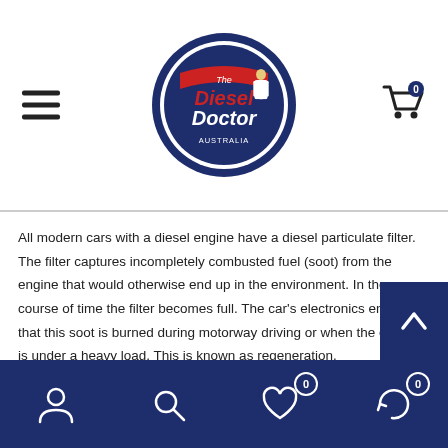[Figure (logo): Diesel Doctor Australia circular logo with red and white text and a figure in a lab coat]
All modern cars with a diesel engine have a diesel particulate filter. The filter captures incompletely combusted fuel (soot) from the engine that would otherwise end up in the environment. In the course of time the filter becomes full. The car's electronics ensure that this soot is burned during motorway driving or when the engine is under a heavy load. This is known as regeneration.
A number of car manufacturers use a regeneration fluid additive to speed up the regeneration process. Using a dosing system, the fluid ensures that soot particles in the diesel particulate filter start to burn at a lower temperature and this improves the service life of the diesel particulate filter.
JLM has an affordable alternative with the same qualities as the original for almost all manufacturers' regeneration fluids. Using the JLM DPF Refill Kit the mechanic c…